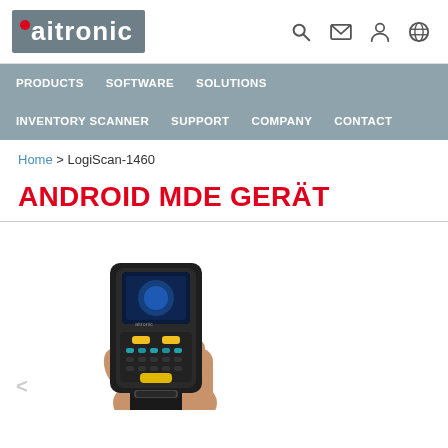aitronic
PRODUCTS   SOFTWARE   SOLUTIONS   INVENTORY SCANNER   SUPPORT   COMPANY   CONTACT
Home > LogiScan-1460
ANDROID MDE GERÄT
[Figure (photo): A hand holding an Android mobile data entry (MDE) scanner device (LogiScan-1460) with a pistol-grip handle, dark casing, yellow buttons, and a screen showing a blue interface.]